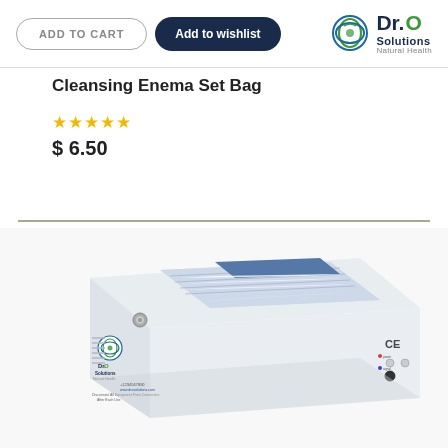[Figure (logo): Dr. O Solutions Natural Health logo with green leaf icon]
ADD TO CART
Add to wishlist
Cleansing Enema Set Bag
★★★★★
$ 6.50
[Figure (photo): Dr. O Solutions medical device box/equipment, white plastic casing with blue label panel on top, metal connector, CE marking, and Dr. O Solutions logo on front]